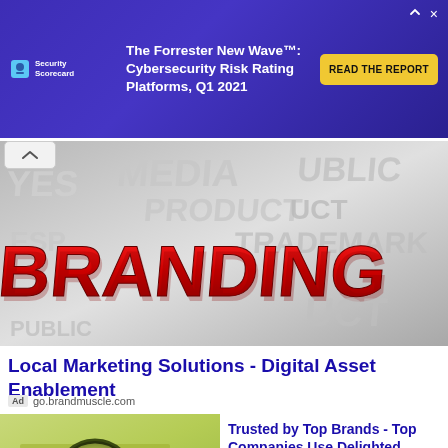[Figure (screenshot): Banner advertisement for SecurityScorecard. Purple background with company logo on left, text 'The Forrester New Wave™: Cybersecurity Risk Rating Platforms, Q1 2021' in center, yellow 'READ THE REPORT' button on right.]
[Figure (photo): 3D typography image with large red 'BRANDING' text in foreground and white 3D words including MEDIA, PRODUCT, TRADEMARK, PUBLIC, YES in background.]
Local Marketing Solutions - Digital Asset Enablement
Ad go.brandmuscle.com
[Figure (photo): Green-tinted photo of a magnifying glass focusing on the word 'customers' on a document.]
Trusted by Top Brands - Top Companies Use Delighted
Ad delighted.com